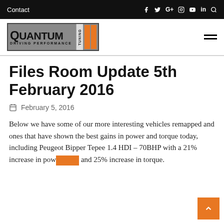Contact
[Figure (logo): Quantum Tuning - Driving Performance logo with orange bars]
Files Room Update 5th February 2016
February 5, 2016
Below we have some of our more interesting vehicles remapped and ones that have shown the best gains in power and torque today, including Peugeot Bipper Tepee 1.4 HDI – 70BHP with a 21% increase in power and 25% increase in torque.